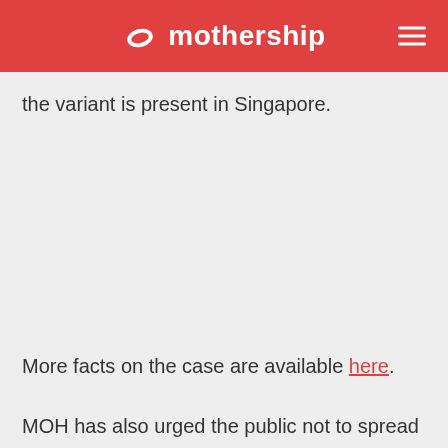mothership
the variant is present in Singapore.
More facts on the case are available here.
MOH has also urged the public not to spread